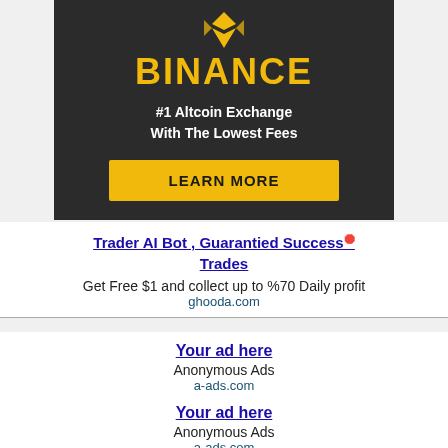[Figure (illustration): Binance cryptocurrency exchange advertisement banner with dark background, Binance logo (gold chevron icon), BINANCE text in gold, tagline '#1 Altcoin Exchange With The Lowest Fees' in white, and a gold 'LEARN MORE' button]
Trader AI Bot , Guarantied Success Trades
Get Free $1 and collect up to %70 Daily profit
ghooda.com
Your ad here
Anonymous Ads
a-ads.com
Your ad here
Anonymous Ads
a-ads.com